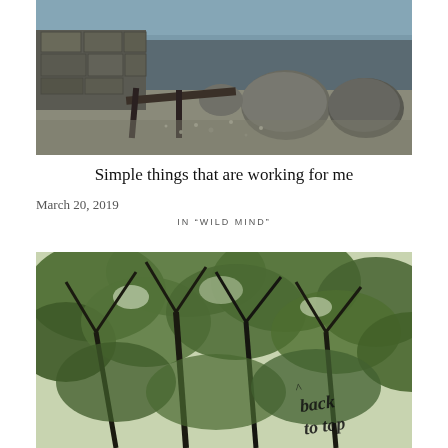[Figure (photo): Outdoor scene with stone wall, wooden bench/dock, large boulders, and a pebbly beach area near water, photographed in natural daylight]
Simple things that are working for me
March 20, 2019
IN "WILD MIND"
[Figure (photo): Upward view through leafy tree canopy with dark branches and green leaves against a bright sky, with a handwritten 'back to top' watermark in the lower right corner]